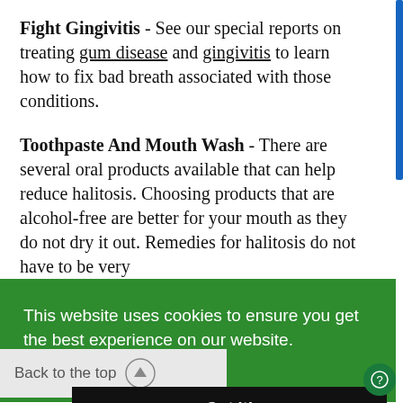Fight Gingivitis - See our special reports on treating gum disease and gingivitis to learn how to fix bad breath associated with those conditions.
Toothpaste And Mouth Wash - There are several oral products available that can help reduce halitosis. Choosing products that are alcohol-free are better for your mouth as they do not dry it out. Remedies for halitosis do not have to be very
[Figure (screenshot): Green cookie consent banner overlay with text 'This website uses cookies to ensure you get the best experience on our website.' and a 'Got it!' button. Also shows a 'Back to the top' button with an upward arrow icon.]
oral cancer and mouthwashes containing